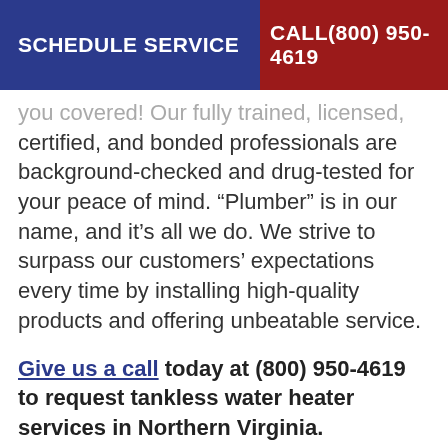SCHEDULE SERVICE | CALL(800) 950-4619
you covered! Our fully trained, licensed, certified, and bonded professionals are background-checked and drug-tested for your peace of mind. “Plumber” is in our name, and it’s all we do. We strive to surpass our customers’ expectations every time by installing high-quality products and offering unbeatable service.
Give us a call today at (800) 950-4619 to request tankless water heater services in Northern Virginia.